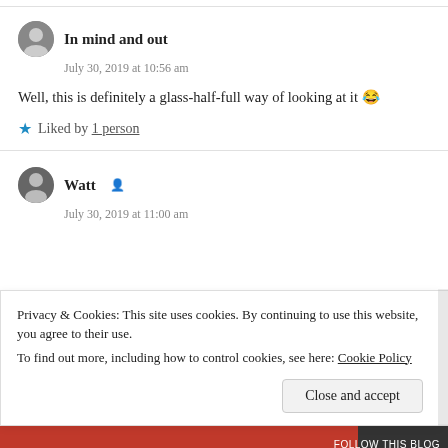In mind and out
July 30, 2019 at 10:56 am
Well, this is definitely a glass-half-full way of looking at it 😂
Liked by 1 person
Watt
July 30, 2019 at 11:00 am
Privacy & Cookies: This site uses cookies. By continuing to use this website, you agree to their use. To find out more, including how to control cookies, see here: Cookie Policy
Close and accept